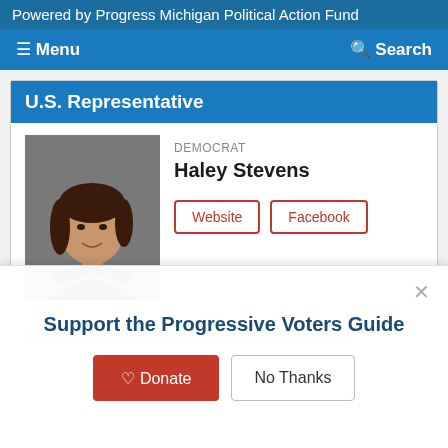Powered by Progress Michigan Political Action Fund
≡ Menu   🔍 Search
U.S. Representative
[Figure (photo): Portrait photo of Haley Stevens, a woman with long dark hair wearing a dark blazer, arms crossed, smiling.]
DEMOCRAT
Haley Stevens
Website   Facebook
Congresswoman Haley Stevens is running for her
Support the Progressive Voters Guide
♡ Donate   No Thanks